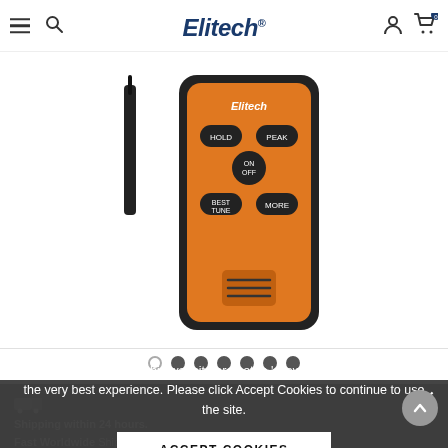Elitech® — navigation bar with hamburger menu, search, logo, user icon, cart (0)
[Figure (photo): Elitech handheld orange and black device with buttons labeled HOLD, PEAK, ON/OFF, BEST, TUNE, MUTE, shown front view with antenna/probe alongside]
Carousel navigation dots (7 dots, second through seventh filled)
The cookie settings on this website are set to 'allow all cookies' to give you the very best experience. Please click Accept Cookies to continue to use the site.
ACCEPT COOKIES
Shipping within 24 hours.
Fast Worldwide Shipping.
Free Standard Shipping in US: 5-8 Days for delivery.
Next Day Shipping Service Available in US: Orders placed